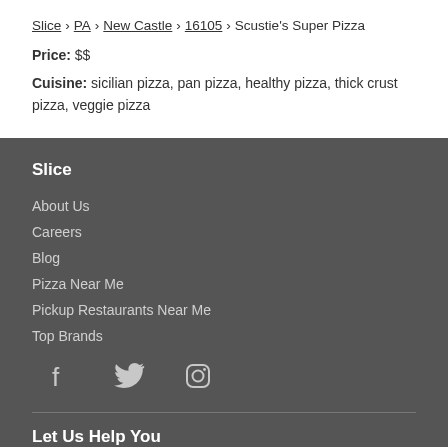Slice > PA > New Castle > 16105 > Scustie's Super Pizza
Price: $$
Cuisine: sicilian pizza, pan pizza, healthy pizza, thick crust pizza, veggie pizza
Slice
About Us
Careers
Blog
Pizza Near Me
Pickup Restaurants Near Me
Top Brands
[Figure (other): Social media icons: Facebook, Twitter, Instagram]
Let Us Help You